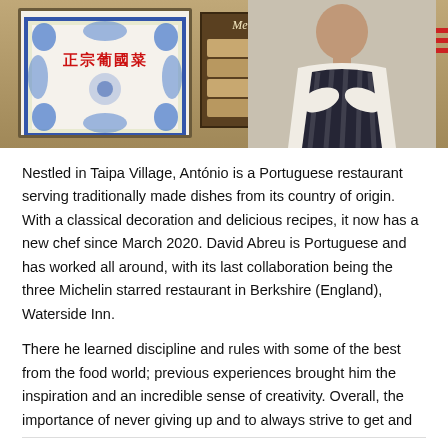[Figure (photo): Photo of a chef in white jacket and dark striped apron standing with arms crossed in front of a Portuguese restaurant interior. A decorative blue and white tile panel with Chinese text '正宗葡國菜' in red is visible on the left. A menu board is in the center background.]
Nestled in Taipa Village, António is a Portuguese restaurant serving traditionally made dishes from its country of origin. With a classical decoration and delicious recipes, it now has a new chef since March 2020. David Abreu is Portuguese and has worked all around, with its last collaboration being the three Michelin starred restaurant in Berkshire (England), Waterside Inn.
There he learned discipline and rules with some of the best from the food world; previous experiences brought him the inspiration and an incredible sense of creativity. Overall, the importance of never giving up and to always strive to get and
[Figure (infographic): Social sharing icons row: email (envelope), Facebook (f), Tumblr (t), LinkedIn (in), Twitter (bird), Pinterest (P), Weibo (W)]